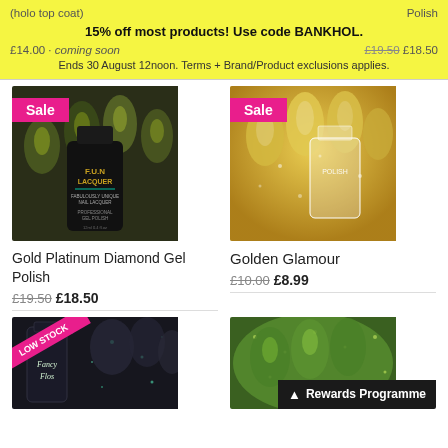(holo top coat) | Polish
15% off most products! Use code BANKHOL.
Ends 30 August 12noon. Terms + Brand/Product exclusions applies.
£14.00 · coming soon | £19.50 £18.50
[Figure (photo): F.U.N Lacquer nail polish bottle (Gold Platinum Diamond Gel Polish) with dark green/gold glittery nail art, Sale badge in pink]
Gold Platinum Diamond Gel Polish
£19.50 £18.50
[Figure (photo): Golden glittery nail polish (Golden Glamour) with sparkly gold nails, Sale badge in pink]
Golden Glamour
£10.00 £8.99
[Figure (photo): Dark glittery nail polish with Low Stock badge, Fancy Floss branding visible]
[Figure (photo): Green glittery nail polish with Rewards Programme button]
Rewards Programme